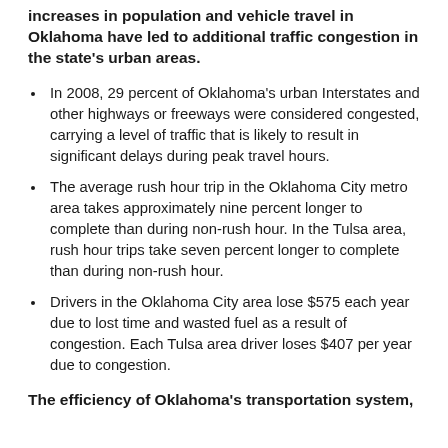Increases in population and vehicle travel in Oklahoma have led to additional traffic congestion in the state's urban areas.
In 2008, 29 percent of Oklahoma's urban Interstates and other highways or freeways were considered congested, carrying a level of traffic that is likely to result in significant delays during peak travel hours.
The average rush hour trip in the Oklahoma City metro area takes approximately nine percent longer to complete than during non-rush hour. In the Tulsa area, rush hour trips take seven percent longer to complete than during non-rush hour.
Drivers in the Oklahoma City area lose $575 each year due to lost time and wasted fuel as a result of congestion. Each Tulsa area driver loses $407 per year due to congestion.
The efficiency of Oklahoma's transportation system,